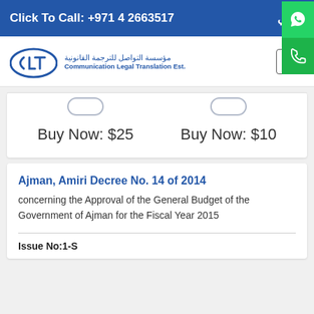Click To Call: +971 4 2663517  عربي
[Figure (logo): CLT Communication Legal Translation Est. logo with Arabic text مؤسسة التواصل للترجمة القانونية]
Buy Now: $25
Buy Now: $10
Ajman, Amiri Decree No. 14 of 2014
concerning the Approval of the General Budget of the Government of Ajman for the Fiscal Year 2015
Issue No:1-S